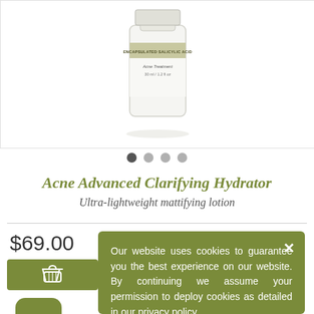[Figure (photo): Product image of Acne Treatment bottle with 'Encapsulated Salicylic Acid' label, 30ml / 1.2 fl oz, shown on white background]
[Figure (other): Carousel navigation dots: 4 dots, first one active (dark), remaining three light grey]
Acne Advanced Clarifying Hydrator
Ultra-lightweight mattifying lotion
$69.00
[Figure (other): Star rating: approximately 4 out of 5 stars shown in gold/yellow]
[Figure (other): Add to cart button with shopping basket icon on olive green background]
[Figure (other): Twitter share button (blue circle with white bird icon)]
[Figure (other): Email share button (olive green rounded square with white envelope icon)]
Our website uses cookies to guarantee you the best experience on our website. By continuing we assume your permission to deploy cookies as detailed in our privacy policy.
I accept